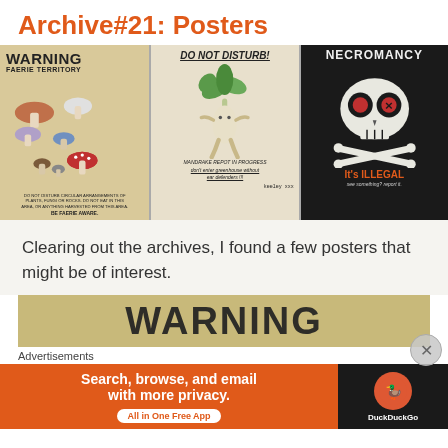Archive#21: Posters
[Figure (illustration): Three decorative posters side by side: 1) 'WARNING FAERIE TERRITORY' on aged parchment background with mushroom illustrations, text 'DO NOT DISTURB CIRCULAR ARRANGEMENTS OF PLANTS, FUNGI OR ROCKS. DO NOT EAT IN THIS AREA, OR ANYTHING HARVESTED FROM THIS AREA. BE FAERIE AWARE.' 2) 'DO NOT DISTURB!' with drawing of a mandrake plant, text 'MANDRAKE REPOT IN PROGRESS - don't enter greenhouse without ear defenders!!! keeley xxx' 3) 'NECROMANCY' on black background with skull graphic, 'IT'S ILLEGAL - see something? report it.']
Clearing out the archives, I found a few posters that might be of interest.
[Figure (illustration): Partial view of the first 'WARNING' poster showing large bold text at the bottom of the page]
Advertisements
[Figure (other): DuckDuckGo advertisement banner: 'Search, browse, and email with more privacy. All in One Free App' with DuckDuckGo logo on dark background]